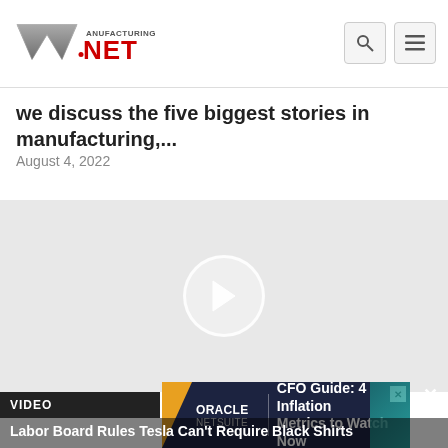Manufacturing.net
we discuss the five biggest stories in manufacturing,...
August 4, 2022
[Figure (screenshot): Video player thumbnail with a play button (circle with right-pointing triangle) centered on a light gray background]
VIDEO
[Figure (infographic): Oracle NetSuite advertisement banner: CFO Guide: 4 Inflation Metrics to Watch Now]
Labor Board Rules Tesla Can't Require Black Shirts